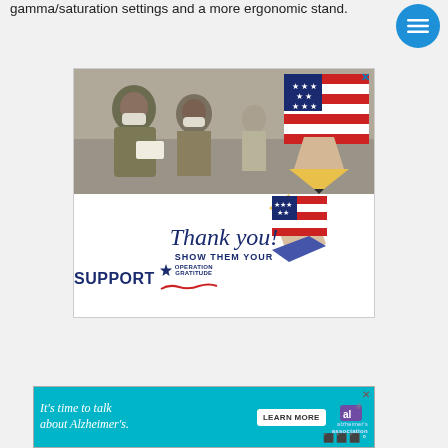gamma/saturation settings and a more ergonomic stand.
[Figure (photo): Advertisement: Military service members wearing masks and looking at papers, with 'Thank you! SHOW THEM YOUR SUPPORT - OPERATION GRATITUDE' text below, featuring a patriotic pencil graphic with American flag design.]
[Figure (infographic): Advertisement banner: 'It's time to talk about Alzheimer's.' with LEARN MORE button and Alzheimer's Association logo, on a teal background.]